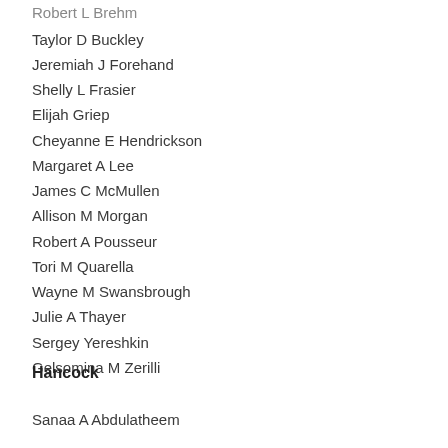Robert L Brehm
Taylor D Buckley
Jeremiah J Forehand
Shelly L Frasier
Elijah Griep
Cheyanne E Hendrickson
Margaret A Lee
James C McMullen
Allison M Morgan
Robert A Pousseur
Tori M Quarella
Wayne M Swansbrough
Julie A Thayer
Sergey Yereshkin
Gelsomina M Zerilli
Hancock
Sanaa A Abdulatheem